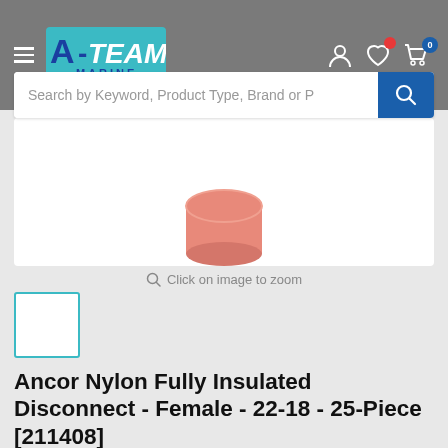[Figure (screenshot): A-Team Marine website header with hamburger menu, logo, search bar, and icons for user account, wishlist, and cart showing 0 items]
[Figure (photo): Product image of Ancor Nylon Fully Insulated Disconnect connector, salmon/pink colored, partially visible at top of white product image box]
Click on image to zoom
[Figure (photo): Small thumbnail image of the product, white background with teal border]
Ancor Nylon Fully Insulated Disconnect - Female - 22-18 - 25-Piece [211408]